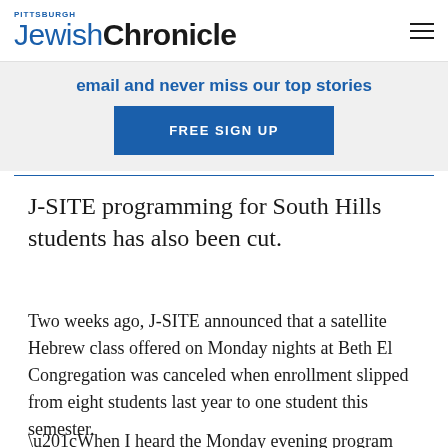Pittsburgh Jewish Chronicle
email and never miss our top stories
FREE SIGN UP
J-SITE programming for South Hills students has also been cut.
Two weeks ago, J-SITE announced that a satellite Hebrew class offered on Monday nights at Beth El Congregation was canceled when enrollment slipped from eight students last year to one student this semester.
“When I heard the Monday evening program was